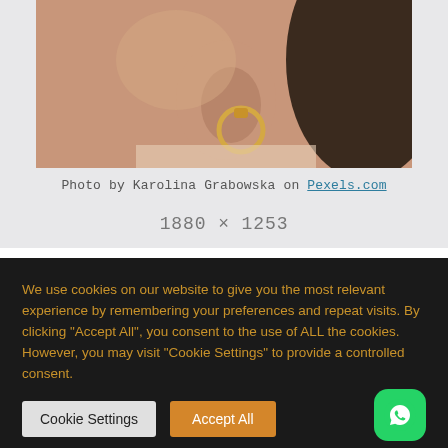[Figure (photo): Close-up photo of a woman's ear wearing a gold hoop earring, dark hair, warm skin tone background]
Photo by Karolina Grabowska on Pexels.com
1880 × 1253
We use cookies on our website to give you the most relevant experience by remembering your preferences and repeat visits. By clicking “Accept All”, you consent to the use of ALL the cookies. However, you may visit “Cookie Settings” to provide a controlled consent.
Cookie Settings | Accept All